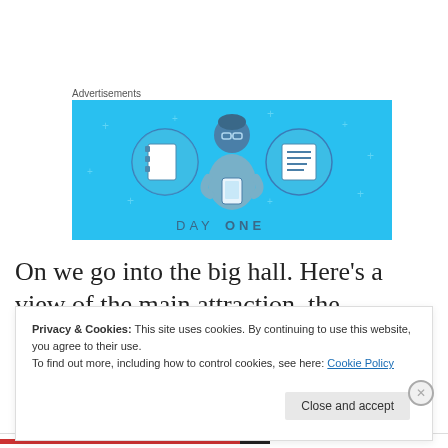Advertisements
[Figure (illustration): Day One app advertisement banner with light blue background showing a cartoon figure holding a phone, flanked by two circular icons of notebooks/journals. Text 'DAY ONE' at the bottom.]
On we go into the big hall. Here’s a view of the main attraction, the tyrannosaur mounts.
Privacy & Cookies: This site uses cookies. By continuing to use this website, you agree to their use.
To find out more, including how to control cookies, see here: Cookie Policy
Close and accept